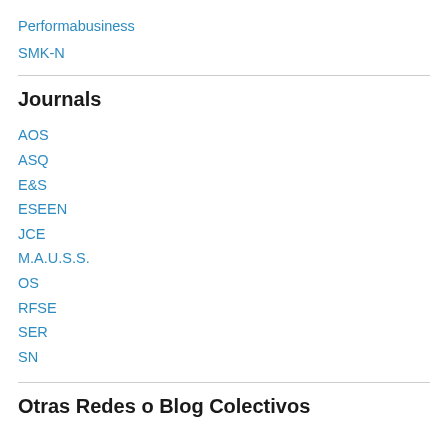Performabusiness
SMK-N
Journals
AOS
ASQ
E&S
ESEEN
JCE
M.A.U.S.S.
OS
RFSE
SER
SN
Otras Redes o Blog Colectivos